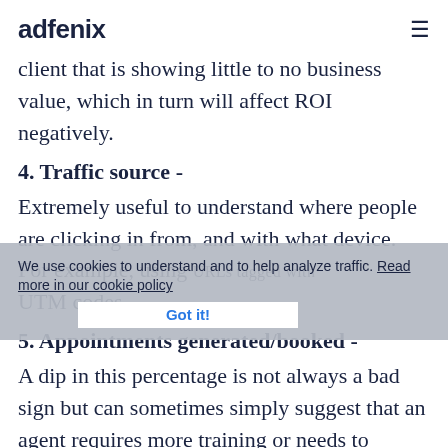adfenix
client that is showing little to no business value, which in turn will affect ROI negatively.
4. Traffic source -
Extremely useful to understand where people are clicking in from, and with what device. For example, using URLs tagged with UTM codes.
5. Appointments generated/booked -
A dip in this percentage is not always a bad sign but can sometimes simply suggest that an agent requires more training or needs to